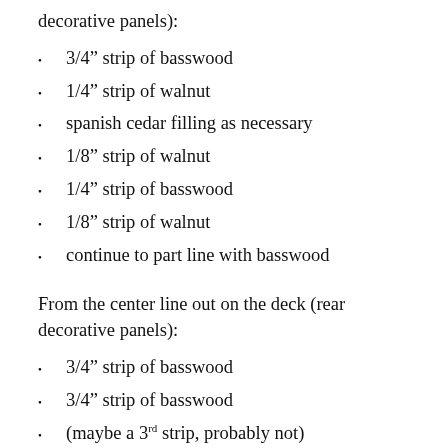decorative panels):
3/4" strip of basswood
1/4" strip of walnut
spanish cedar filling as necessary
1/8" strip of walnut
1/4" strip of basswood
1/8" strip of walnut
continue to part line with basswood
From the center line out on the deck (rear decorative panels):
3/4" strip of basswood
3/4" strip of basswood
(maybe a 3rd strip, probably not)
1/4" strip of walnut